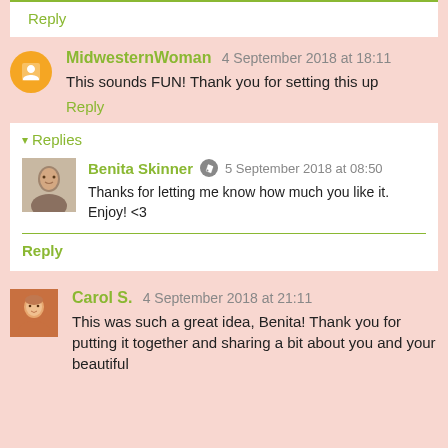Reply
MidwesternWoman 4 September 2018 at 18:11
This sounds FUN! Thank you for setting this up
Reply
Replies
Benita Skinner 5 September 2018 at 08:50
Thanks for letting me know how much you like it. Enjoy! <3
Reply
Carol S. 4 September 2018 at 21:11
This was such a great idea, Benita! Thank you for putting it together and sharing a bit about you and your beautiful